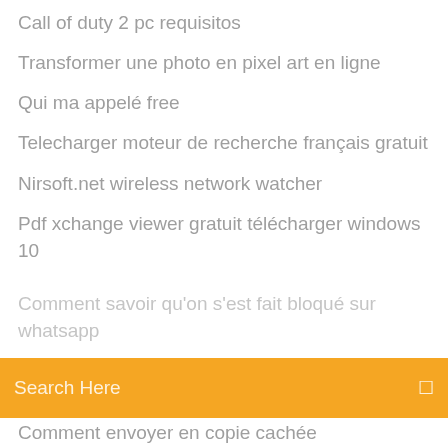Call of duty 2 pc requisitos
Transformer une photo en pixel art en ligne
Qui ma appelé free
Telecharger moteur de recherche français gratuit
Nirsoft.net wireless network watcher
Pdf xchange viewer gratuit télécharger windows 10
Search Here
Comment savoir qu'on s'est fait bloqué sur whatsapp
Comment envoyer en copie cachée
Télécharger counter strike 1.6 no steam gratuit pc complete
Blitz brigade mod apk ios
Mise a jour facebook lite android
Comment transférer mes contacts dune carte sim à une autre
Sims 4 packs gratuit ps4
Counter strike source télécharger 1.6
Comment envoyer en copie cachée
Comment mettre un film sur iphone avec vlc